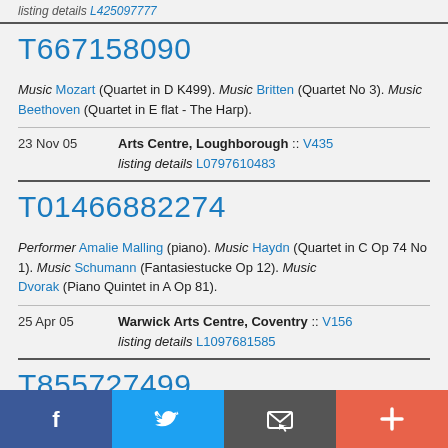listing details L425097777
T667158090
Music Mozart (Quartet in D K499). Music Britten (Quartet No 3). Music Beethoven (Quartet in E flat - The Harp).
23 Nov 05   Arts Centre, Loughborough :: V435
listing details L0797610483
T01466882274
Performer Amalie Malling (piano). Music Haydn (Quartet in C Op 74 No 1). Music Schumann (Fantasiestucke Op 12). Music Dvorak (Piano Quintet in A Op 81).
25 Apr 05   Warwick Arts Centre, Coventry :: V156
listing details L1097681585
T855727499